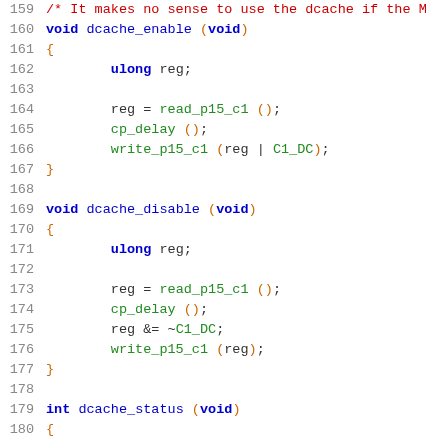Source code listing, lines 159-180, C functions dcache_enable, dcache_disable, dcache_status